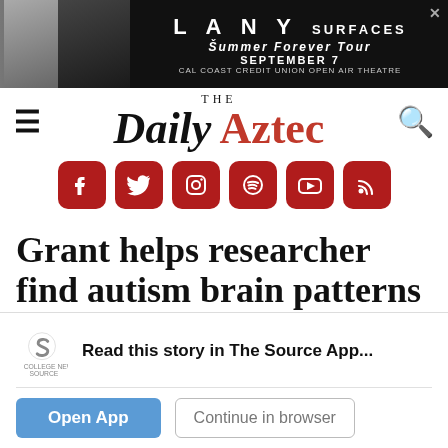[Figure (screenshot): Advertisement banner for LANY Surfaces Summer Forever Tour, September 7 at Cal Coast Credit Union Open Air Theatre, with two people in background]
[Figure (logo): The Daily Aztec newspaper logo with hamburger menu icon on left and search icon on right]
[Figure (infographic): Row of dark red social media icons: Facebook, Twitter, Instagram, Spotify, YouTube, RSS]
Grant helps researcher find autism brain patterns
[Figure (logo): College News Source app prompt with logo, text 'Read this story in The Source App...' and Open App / Continue in browser buttons]